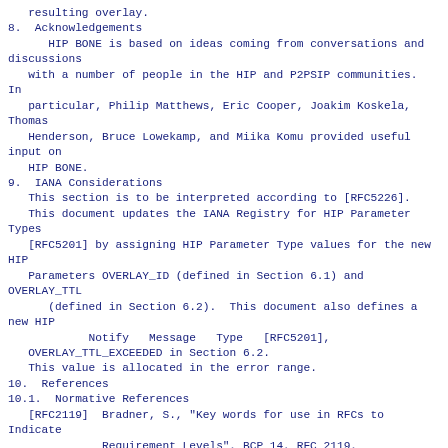resulting overlay.
8.  Acknowledgements
HIP BONE is based on ideas coming from conversations and discussions
   with a number of people in the HIP and P2PSIP communities.  In
   particular, Philip Matthews, Eric Cooper, Joakim Koskela, Thomas
   Henderson, Bruce Lowekamp, and Miika Komu provided useful input on
   HIP BONE.
9.  IANA Considerations
This section is to be interpreted according to [RFC5226].
   This document updates the IANA Registry for HIP Parameter Types
   [RFC5201] by assigning HIP Parameter Type values for the new HIP
   Parameters OVERLAY_ID (defined in Section 6.1) and OVERLAY_TTL
      (defined in Section 6.2).  This document also defines a new HIP
            Notify   Message   Type   [RFC5201],
   OVERLAY_TTL_EXCEEDED in Section 6.2.
   This value is allocated in the error range.
10.  References
10.1.  Normative References
[RFC2119]  Bradner, S., "Key words for use in RFCs to Indicate
              Requirement Levels", BCP 14, RFC 2119,